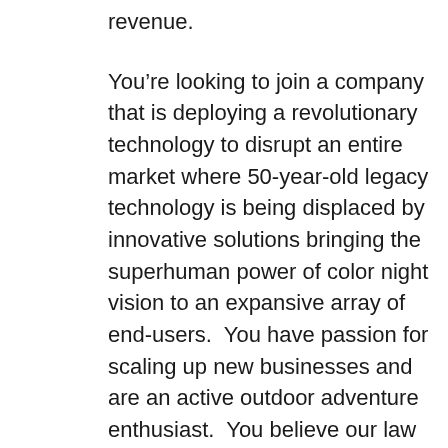revenue.
You're looking to join a company that is deploying a revolutionary technology to disrupt an entire market where 50-year-old legacy technology is being displaced by innovative solutions bringing the superhuman power of color night vision to an expansive array of end-users.  You have passion for scaling up new businesses and are an active outdoor adventure enthusiast.  You believe our law enforcement and military customers deserve the very highest performance technology breakthroughs possible to meet the demands of their job.  Most importantly, you are an impact player who is looking to work hard, have fun, and add a big win to your